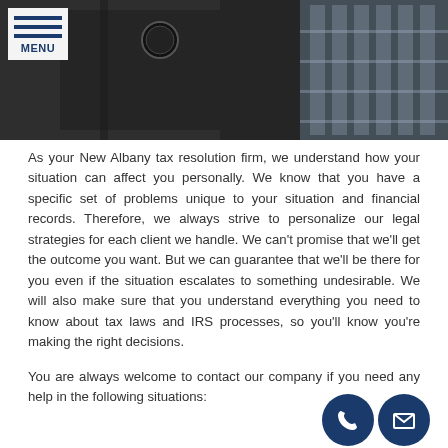[Figure (photo): Hero image showing business people in dark suits, appearing to be in a professional/financial context with an urban background]
MENU
As your New Albany tax resolution firm, we understand how your situation can affect you personally. We know that you have a specific set of problems unique to your situation and financial records. Therefore, we always strive to personalize our legal strategies for each client we handle. We can't promise that we'll get the outcome you want. But we can guarantee that we'll be there for you even if the situation escalates to something undesirable. We will also make sure that you understand everything you need to know about tax laws and IRS processes, so you'll know you're making the right decisions.
You are always welcome to contact our company if you need any help in the following situations: